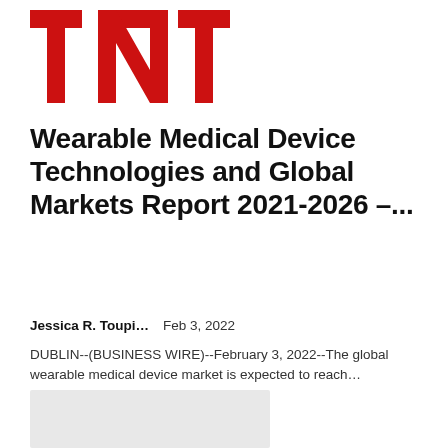[Figure (logo): TNT logo in large bold red block letters on white background]
Wearable Medical Device Technologies and Global Markets Report 2021-2026 –...
Jessica R. Toupi...   Feb 3, 2022
DUBLIN--(BUSINESS WIRE)--February 3, 2022--The global wearable medical device market is expected to reach...
[Figure (other): Gray rectangular image placeholder]